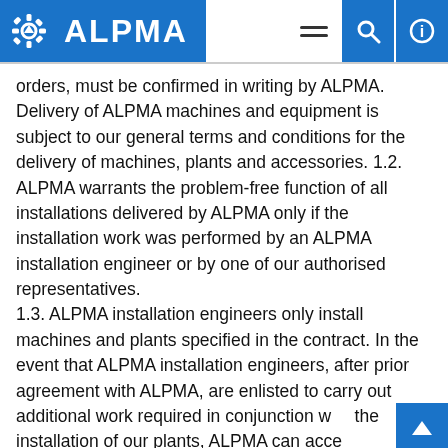ALPMA
orders, must be confirmed in writing by ALPMA. Delivery of ALPMA machines and equipment is subject to our general terms and conditions for the delivery of machines, plants and accessories. 1.2. ALPMA warrants the problem-free function of all installations delivered by ALPMA only if the installation work was performed by an ALPMA installation engineer or by one of our authorised representatives. 1.3. ALPMA installation engineers only install machines and plants specified in the contract. In the event that ALPMA installation engineers, after prior agreement with ALPMA, are enlisted to carry out additional work required in conjunction with the installation of our plants, ALPMA can accept